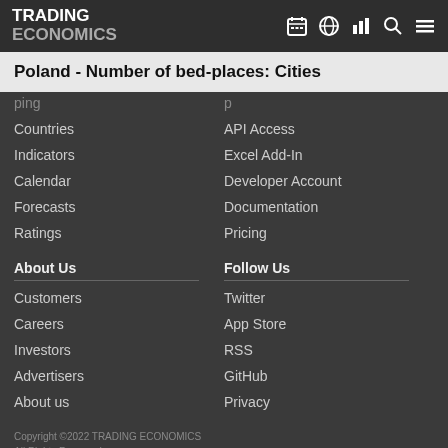TRADING ECONOMICS
Poland - Number of bed-places: Cities
Countries
Indicators
Calendar
Forecasts
Ratings
API Access
Excel Add-In
Developer Account
Documentation
Pricing
About Us
Customers
Careers
Investors
Advertisers
About us
Follow Us
Twitter
App Store
RSS
GitHub
Privacy
Copyright ©2022 TRADING ECONOMICS
All Rights Reserved